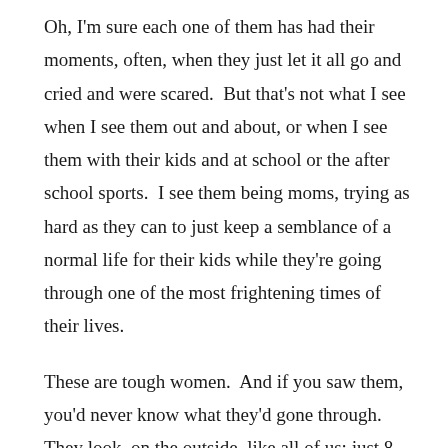Oh, I'm sure each one of them has had their moments, often, when they just let it all go and cried and were scared.  But that's not what I see when I see them out and about, or when I see them with their kids and at school or the after school sports.  I see them being moms, trying as hard as they can to just keep a semblance of a normal life for their kids while they're going through one of the most frightening times of their lives.
These are tough women.  And if you saw them, you'd never know what they'd gone through.  They look, on the outside, like all of us; just 8 great women with